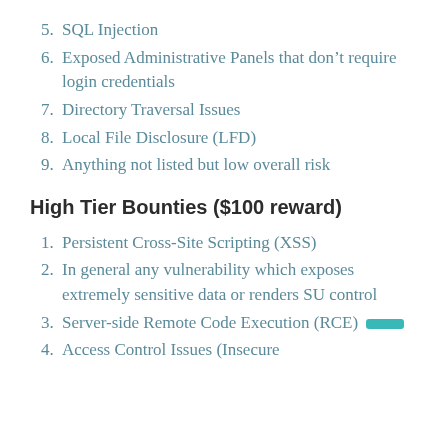5. SQL Injection
6. Exposed Administrative Panels that don’t require login credentials
7. Directory Traversal Issues
8. Local File Disclosure (LFD)
9. Anything not listed but low overall risk
High Tier Bounties ($100 reward)
1. Persistent Cross-Site Scripting (XSS)
2. In general any vulnerability which exposes extremely sensitive data or renders SU control
3. Server-side Remote Code Execution (RCE)
4. Access Control Issues (Insecure